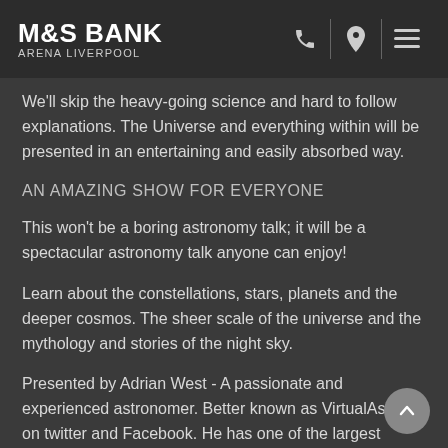M&S BANK ARENA LIVERPOOL
We'll skip the heavy-going science and hard to follow explanations. The Universe and everything within will be presented in an entertaining and easily absorbed way.
AN AMAZING SHOW FOR EVERYONE
This won't be a boring astronomy talk; it will be a spectacular astronomy talk anyone can enjoy!
Learn about the constellations, stars, planets and the deeper cosmos. The sheer scale of the universe and the mythology and stories of the night sky.
Presented by Adrian West - A passionate and experienced astronomer. Better known as VirtualAstro on twitter and Facebook. He has one of the largest independent astr and space accounts on social media. He's passionate about